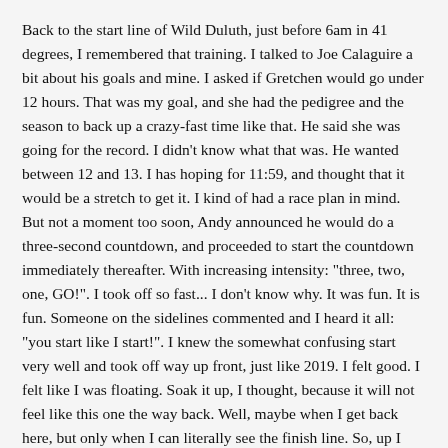Back to the start line of Wild Duluth, just before 6am in 41 degrees, I remembered that training. I talked to Joe Calaguire a bit about his goals and mine. I asked if Gretchen would go under 12 hours. That was my goal, and she had the pedigree and the season to back up a crazy-fast time like that. He said she was going for the record. I didn't know what that was. He wanted between 12 and 13. I has hoping for 11:59, and thought that it would be a stretch to get it. I kind of had a race plan in mind. But not a moment too soon, Andy announced he would do a three-second countdown, and proceeded to start the countdown immediately thereafter. With increasing intensity: "three, two, one, GO!". I took off so fast... I don't know why. It was fun. It is fun. Someone on the sidelines commented and I heard it all: "you start like I start!". I knew the somewhat confusing start very well and took off way up front, just like 2019. I felt good. I felt like I was floating. Soak it up, I thought, because it will not feel like this one the way back. Well, maybe when I get back here, but only when I can literally see the finish line. So, up I went into the night towards Enger Tower.
I entered the woods across Superior Street alone. There was lots of dew reflecting off my headlamp's light. It seemed humid, yet still cold. The air on my arms was definitely chilling me, but it also felt